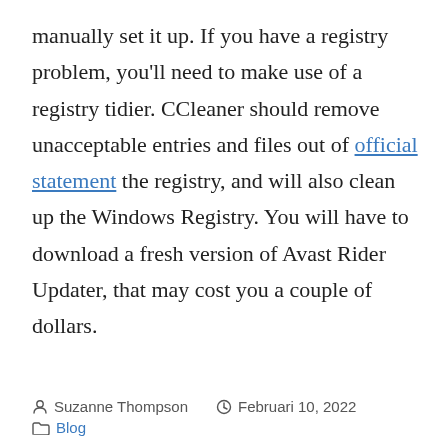manually set it up. If you have a registry problem, you'll need to make use of a registry tidier. CCleaner should remove unacceptable entries and files out of official statement the registry, and will also clean up the Windows Registry. You will have to download a fresh version of Avast Rider Updater, that may cost you a couple of dollars.
Suzanne Thompson   Februari 10, 2022   Blog